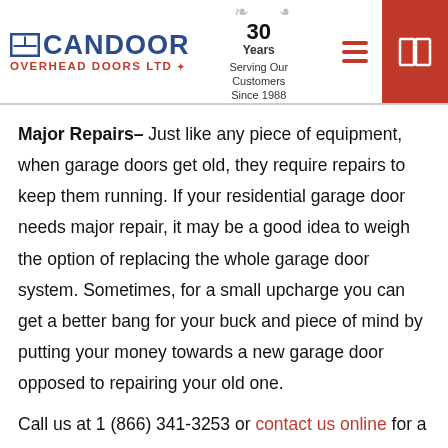CANDOOR OVERHEAD DOORS LTD — 30 Years Serving Our Customers Since 1988
Major Repairs– Just like any piece of equipment, when garage doors get old, they require repairs to keep them running. If your residential garage door needs major repair, it may be a good idea to weigh the option of replacing the whole garage door system. Sometimes, for a small upcharge you can get a better bang for your buck and piece of mind by putting your money towards a new garage door opposed to repairing your old one.
Call us at 1 (866) 341-3253 or contact us online for a free consultation about the status of your residential garage door from the top of...